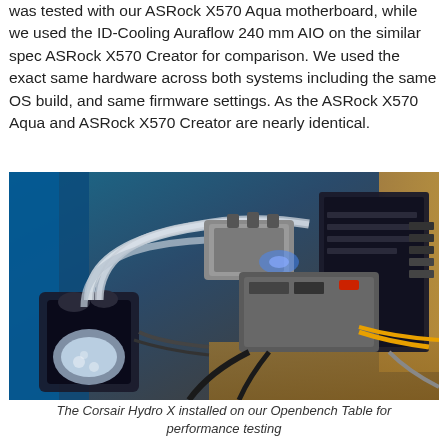was tested with our ASRock X570 Aqua motherboard, while we used the ID-Cooling Auraflow 240 mm AIO on the similar spec ASRock X570 Creator for comparison. We used the exact same hardware across both systems including the same OS build, and same firmware settings. As the ASRock X570 Aqua and ASRock X570 Creator are nearly identical.
[Figure (photo): A custom water cooling loop (Corsair Hydro X) installed on a computer system sitting on an open bench table. The setup shows tubes, a reservoir/pump, motherboard, and various cables connected to components.]
The Corsair Hydro X installed on our Openbench Table for performance testing